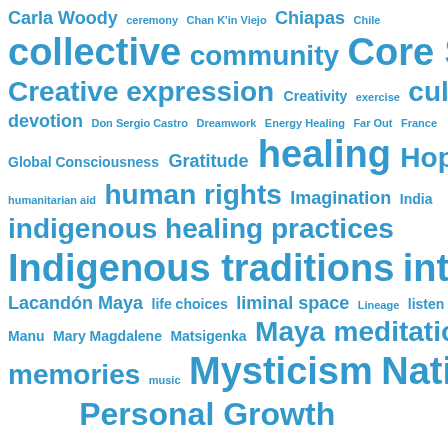[Figure (infographic): Tag/word cloud with terms related to indigenous spirituality, healing, and culture. All terms appear in blue with varying font sizes indicating frequency/importance. Terms include: Carla Woody, ceremony, Chan K'in Viejo, Chiapas, Chile, collective, community, Core Self, COVID-19, Creative expression, Creativity, exercise, culture, devotion, Don Sergio Castro, Dreamwork, Energy Healing, Far Out, France, Global Consciousness, Gratitude, healing, Hopi, humanitarian aid, human rights, Imagination, India, indigenous healing practices, Indigenous traditions, intent, Ireland, Lacandón Maya, life choices, liminal space, Lineage, listen, love, Manu, Mary Magdalene, Matsigenka, Maya, meditation, memories, music, Mysticism, Native spirituality, Personal Growth (partial)]